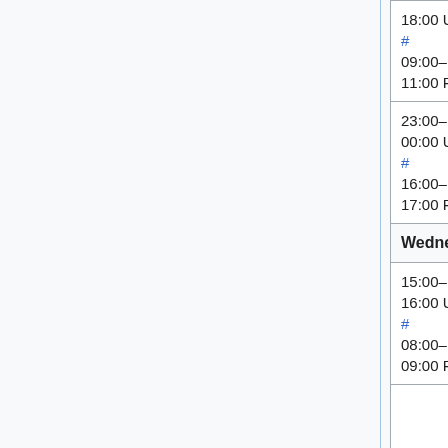| Time | Event | People |
| --- | --- | --- |
| 18:00 UTC
#
09:00–11:00 PDT | Wikidata | aude |
| 23:00–00:00 UTC
#
16:00–17:00 PDT | Evening SWAT
(Max 8 patches) | Roan (RoanKattouw…
Chad (ostrich…
or Alex (Krena… |
| Wednesday, October 21 |  |  |
| 15:00–16:00 UTC
#
08:00–09:00 PDT | Morning SWAT
(Max 8 patches) | Brad (anomie)
(ostriches),
(thcipriani)
(marktraceur…
Alex (Krenair… |
|  |  |  |